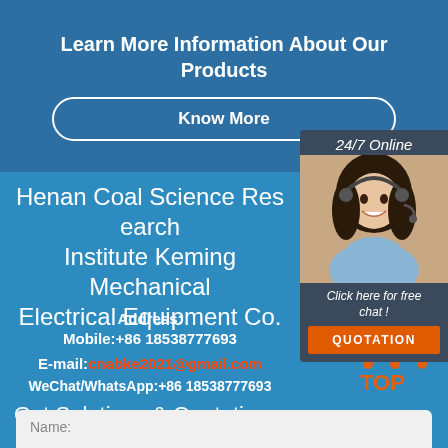Learn More Information About Our Products
Know More
[Figure (photo): 24/7 Online customer service representative — woman with headset smiling. Includes 'Click here for free chat!' text and QUOTATION button.]
Henan Coal Science Research Institute Keming Mechanical Electrical Equipment Co.
Address:
Mobile:+86 18538777693
E-mail:cnabke2021@gmail.com
WeChat/WhatsApp:+86 18538777693
Get Solutions & Quotation
[Figure (logo): TOP logo — orange dots arranged in triangle with TOP text]
Name: